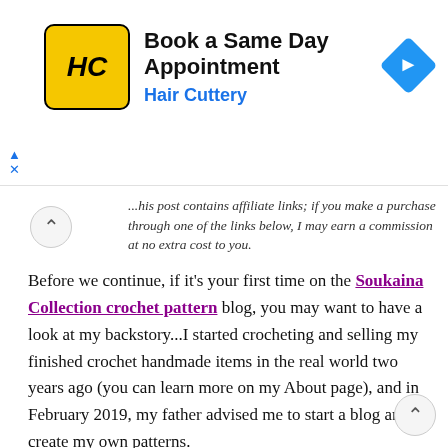[Figure (other): Advertisement banner for Hair Cuttery showing logo, text 'Book a Same Day Appointment', 'Hair Cuttery', and a navigation icon]
This post contains affiliate links; if you make a purchase through one of the links below, I may earn a commission at no extra cost to you.
Before we continue, if it's your first time on the Soukaina Collection crochet pattern blog, you may want to have a look at my backstory...I started crocheting and selling my finished crochet handmade items in the real world two years ago (you can learn more on my About page), and in February 2019, my father advised me to start a blog and create my own patterns.
I then registered my domain with my father's SiteGround web hosting (after a long brainstorming session that lasted several days in order to find my domain name, but I think it was worth it), and I learned how to create a blog with WordPress and how to use it for my e-commerce and blogging goals.